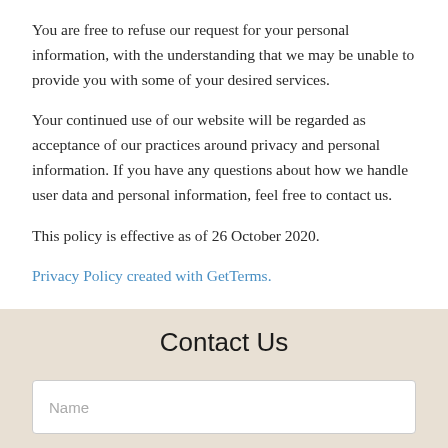You are free to refuse our request for your personal information, with the understanding that we may be unable to provide you with some of your desired services.
Your continued use of our website will be regarded as acceptance of our practices around privacy and personal information. If you have any questions about how we handle user data and personal information, feel free to contact us.
This policy is effective as of 26 October 2020.
Privacy Policy created with GetTerms.
Contact Us
Name